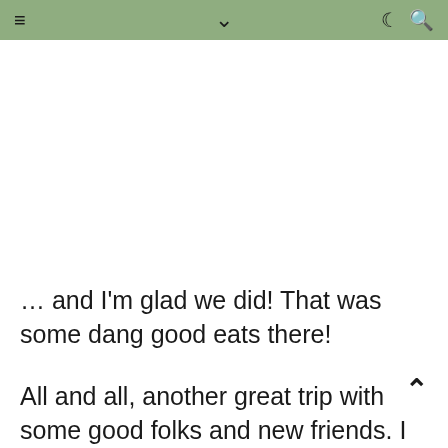≡  ∨  ☾ 🔍
… and I'm glad we did! That was some dang good eats there!
All and all, another great trip with some good folks and new friends. I look forward to getting back down that way again in